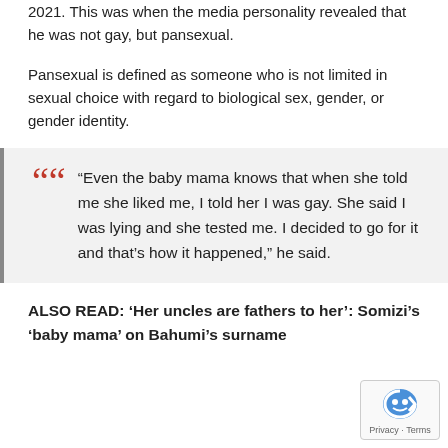2021. This was when the media personality revealed that he was not gay, but pansexual.
Pansexual is defined as someone who is not limited in sexual choice with regard to biological sex, gender, or gender identity.
“Even the baby mama knows that when she told me she liked me, I told her I was gay. She said I was lying and she tested me. I decided to go for it and that’s how it happened,” he said.
ALSO READ: ‘Her uncles are fathers to her’: Somizi’s ‘baby mama’ on Bahumi’s surname